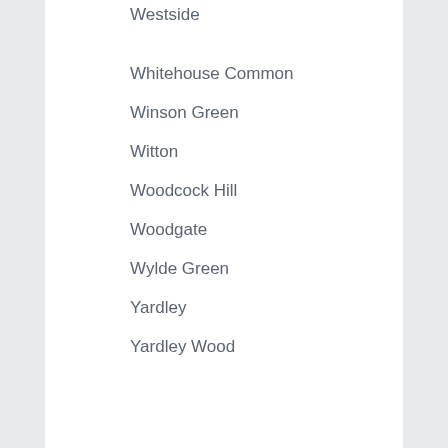Westside
Whitehouse Common
Winson Green
Witton
Woodcock Hill
Woodgate
Wylde Green
Yardley
Yardley Wood